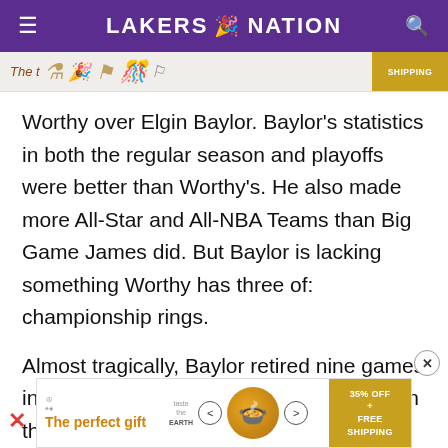LAKERS NATION
[Figure (screenshot): Partial advertisement banner at top showing trophy/gift items with SHIPPING badge]
Worthy over Elgin Baylor. Baylor's statistics in both the regular season and playoffs were better than Worthy's. He also made more All-Star and All-NBA Teams than Big Game James did. But Baylor is lacking something Worthy has three of: championship rings.
Almost tragically, Baylor retired nine games into the 1971-72 season, the same season the Lakers won their first title in Los Angeles.
[Figure (screenshot): Advertisement banner at the bottom: 'The perfect gift' with food bowl image, navigation arrows, and '35% OFF + FREE SHIPPING' badge]